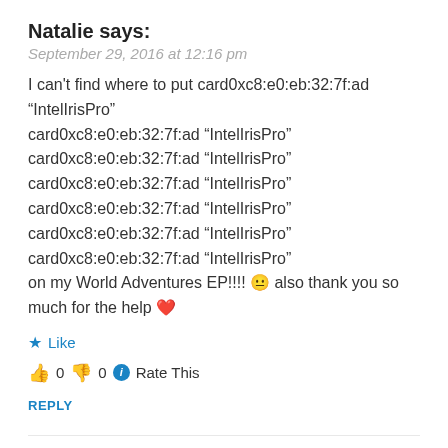Natalie says:
September 29, 2016 at 12:16 pm
I can't find where to put card0xc8:e0:eb:32:7f:ad “IntelIrisPro” card0xc8:e0:eb:32:7f:ad “IntelIrisPro” card0xc8:e0:eb:32:7f:ad “IntelIrisPro” card0xc8:e0:eb:32:7f:ad “IntelIrisPro” card0xc8:e0:eb:32:7f:ad “IntelIrisPro” card0xc8:e0:eb:32:7f:ad “IntelIrisPro” card0xc8:e0:eb:32:7f:ad “IntelIrisPro” on my World Adventures EP!!!! 😐 also thank you so much for the help ❤
★ Like
👍 0 👎 0 ℹ Rate This
REPLY
BluebellFlora says:
September 29, 2016 at 11:22 pm